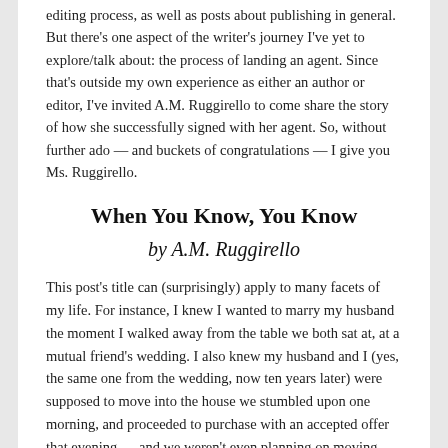editing process, as well as posts about publishing in general. But there's one aspect of the writer's journey I've yet to explore/talk about: the process of landing an agent. Since that's outside my own experience as either an author or editor, I've invited A.M. Ruggirello to come share the story of how she successfully signed with her agent. So, without further ado — and buckets of congratulations — I give you Ms. Ruggirello.
When You Know, You Know
by A.M. Ruggirello
This post's title can (surprisingly) apply to many facets of my life. For instance, I knew I wanted to marry my husband the moment I walked away from the table we both sat at, at a mutual friend's wedding. I also knew my husband and I (yes, the same one from the wedding, now ten years later) were supposed to move into the house we stumbled upon one morning, and proceeded to purchase with an accepted offer that evening — and we weren't even planning on moving anytime soon.